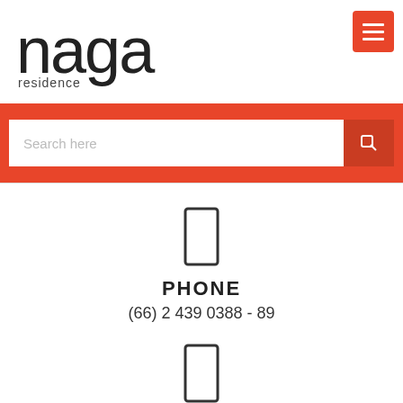[Figure (logo): Naga Residence logo with circular letterforms and 'residence' text below]
[Figure (infographic): Red hamburger menu button with three white horizontal lines]
[Figure (infographic): Red search bar with white input field showing placeholder 'Search here' and a search icon button]
PHONE
(66) 2 439 0388 - 89
[Figure (infographic): Outlined rectangle icon (envelope/phone icon) rendered via icon font]